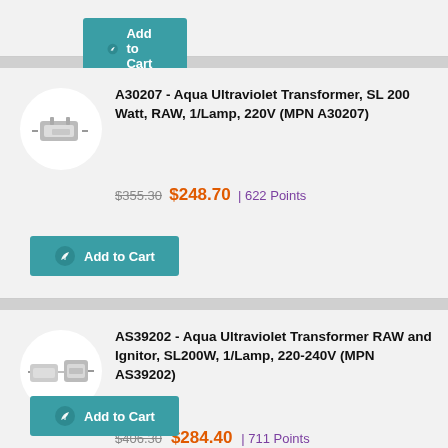[Figure (other): Partial Add to Cart button from previous product card (cropped at top of page)]
[Figure (photo): Product image of Aqua Ultraviolet Transformer SL 200 Watt RAW 1/Lamp 220V on white circular background]
A30207 - Aqua Ultraviolet Transformer, SL 200 Watt, RAW, 1/Lamp, 220V (MPN A30207)
$355.30 $248.70 | 622 Points
Add to Cart
[Figure (photo): Product image of Aqua Ultraviolet Transformer RAW and Ignitor SL200W 1/Lamp 220-240V on white circular background]
AS39202 - Aqua Ultraviolet Transformer RAW and Ignitor, SL200W, 1/Lamp, 220-240V (MPN AS39202)
$406.30 $284.40 | 711 Points
Add to Cart